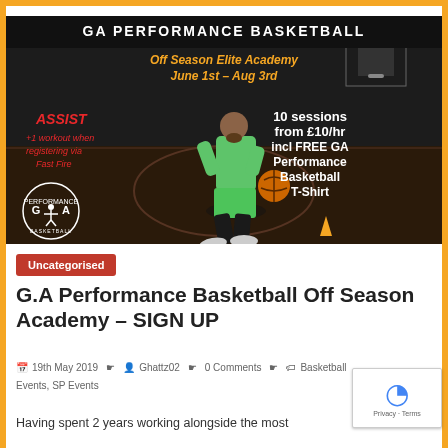[Figure (photo): GA Performance Basketball Off Season Elite Academy promotional image. Dark basketball court background with a player dribbling. Top banner text: 'GA PERFORMANCE BASKETBALL', 'Off Season Elite Academy', 'June 1st – Aug 3rd'. Left text in red/orange: 'ASSIST +1 workout when registering via Fast Fire'. Right text in white: '10 sessions from £10/hr incl FREE GA Performance Basketball T-Shirt'. Bottom left has the GA Performance Basketball logo.]
Uncategorised
G.A Performance Basketball Off Season Academy – SIGN UP
19th May 2019   Ghattz02   0 Comments   Basketball Events, SP Events
Having spent 2 years working alongside the most